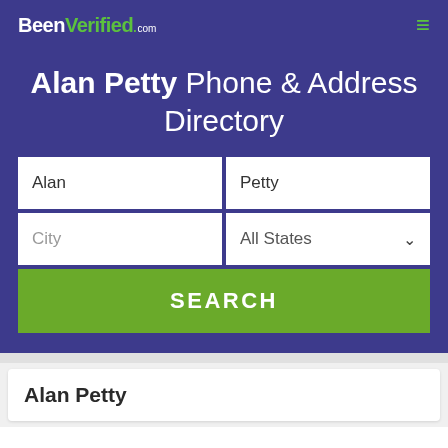BeenVerified.com
Alan Petty Phone & Address Directory
Alan | Petty
City | All States
SEARCH
Alan Petty